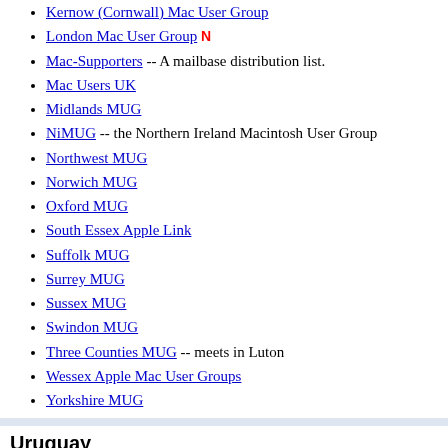Kernow (Cornwall) Mac User Group
London Mac User Group N
Mac-Supporters -- A mailbase distribution list.
Mac Users UK
Midlands MUG
NiMUG -- the Northern Ireland Macintosh User Group
Northwest MUG
Norwich MUG
Oxford MUG
South Essex Apple Link
Suffolk MUG
Surrey MUG
Sussex MUG
Swindon MUG
Three Counties MUG -- meets in Luton
Wessex Apple Mac User Groups
Yorkshire MUG
Uruguay
macacos